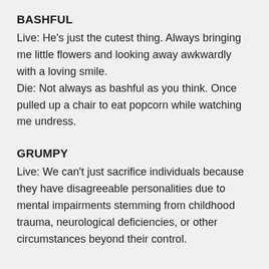BASHFUL
Live: He's just the cutest thing. Always bringing me little flowers and looking away awkwardly with a loving smile.
Die: Not always as bashful as you think. Once pulled up a chair to eat popcorn while watching me undress.
GRUMPY
Live: We can't just sacrifice individuals because they have disagreeable personalities due to mental impairments stemming from childhood trauma, neurological deficiencies, or other circumstances beyond their control.